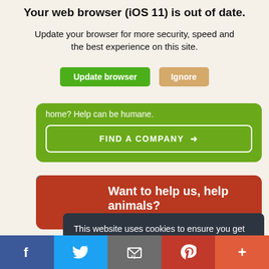Your web browser (iOS 11) is out of date.
Update your browser for more security, speed and the best experience on this site.
[Figure (screenshot): Two buttons: green 'Update browser' and tan 'Ignore']
home? Help can be humane.
[Figure (screenshot): Green button: FIND A COMPANY with arrow icon]
Want to help us, help animals?
This website uses cookies to ensure you get the best experience.  Learn more
[Figure (screenshot): Teal button: I understand]
[Figure (screenshot): Social media bottom bar: Facebook, Twitter, Email, Pinterest, More]